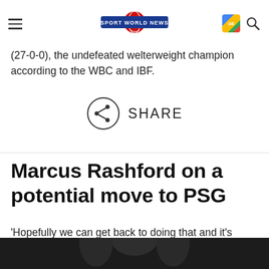Sport World News
(27-0-0), the undefeated welterweight champion according to the WBC and IBF.
[Figure (other): Share icon button with circular border and text SHARE]
Marcus Rashford on a potential move to PSG
'Hopefully we can get back to doing that and it's something that I'm definitely pushing to do.'
[Figure (photo): Photo of Marcus Rashford at bottom of page, partially cropped, dark background]